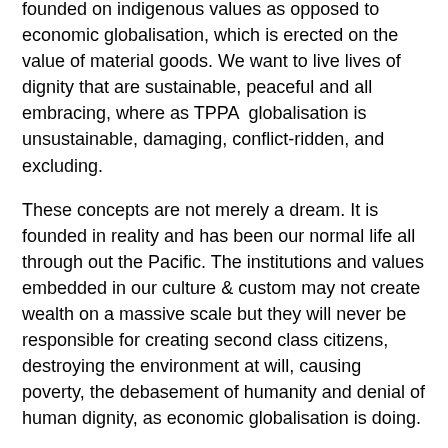founded on indigenous values as opposed to economic globalisation, which is erected on the value of material goods. We want to live lives of dignity that are sustainable, peaceful and all embracing, where as TPPA globalisation is unsustainable, damaging, conflict-ridden, and excluding.
These concepts are not merely a dream. It is founded in reality and has been our normal life all through out the Pacific. The institutions and values embedded in our culture & custom may not create wealth on a massive scale but they will never be responsible for creating second class citizens, destroying the environment at will, causing poverty, the debasement of humanity and denial of human dignity, as economic globalisation is doing.
Against all the odds, and the threats we face to our lands, our cultures, and our ways of life in the Pacific, we have survived and we continue to resist. Evolutionary processes have taken their course in the pacific and the time has come for us to reach out across the vast ocean that binds us to support each other's struggles and start to organise to halt the annihilation that we as a peoples are facing.